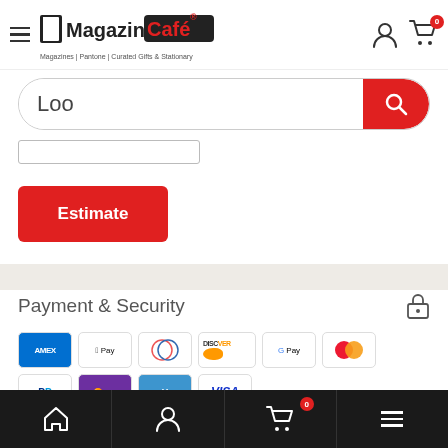Magazine Café - Magazines | Pantone | Curated Gifts & Stationary
Loo
Estimate
Payment & Security
[Figure (screenshot): Payment method logos: American Express, Apple Pay, Diners Club, Discover, Google Pay, Mastercard, PayPal, OPay, Venmo, Visa]
Bottom navigation bar with home, account, cart (0), and menu icons